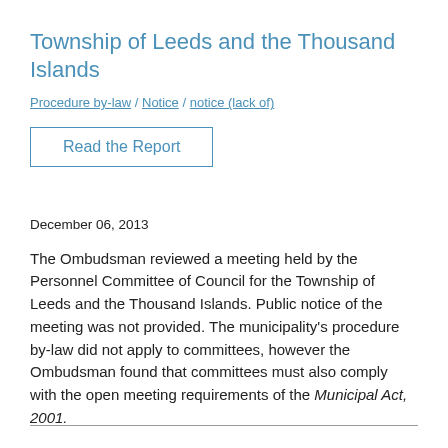Township of Leeds and the Thousand Islands
Procedure by-law / Notice / notice (lack of)
Read the Report
December 06, 2013
The Ombudsman reviewed a meeting held by the Personnel Committee of Council for the Township of Leeds and the Thousand Islands. Public notice of the meeting was not provided. The municipality's procedure by-law did not apply to committees, however the Ombudsman found that committees must also comply with the open meeting requirements of the Municipal Act, 2001.